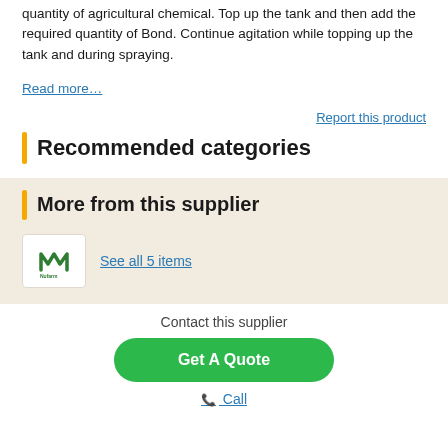quantity of agricultural chemical. Top up the tank and then add the required quantity of Bond. Continue agitation while topping up the tank and during spraying.
Read more…
Report this product
Recommended categories
More from this supplier
See all 5 items
Contact this supplier
Get A Quote
Call